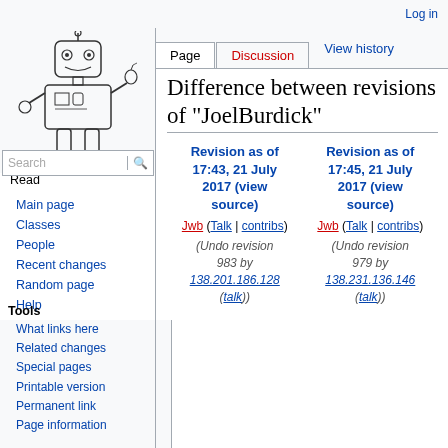Log in
[Figure (illustration): Wikipedia-style robot mascot illustration in black and white, a cartoon robot holding an apple]
Read
Search
Page | Discussion | View history
Difference between revisions of "JoelBurdick"
Main page
Classes
People
Recent changes
Random page
Help
Tools
What links here
Related changes
Special pages
Printable version
Permanent link
Page information
| Revision as of 17:43, 21 July 2017 (view source) | Revision as of 17:45, 21 July 2017 (view source) |
| --- | --- |
| Jwb (Talk | contribs) | Jwb (Talk | contribs) |
| (Undo revision 983 by 138.201.186.128 (talk)) | (Undo revision 979 by 138.231.136.146 (talk)) |